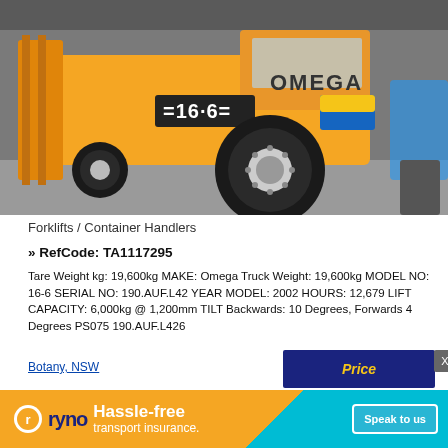[Figure (photo): Large yellow Omega forklift / container handler (Model 16-6) photographed from the side in an industrial yard. The machine has large black tires, a prominent blue and yellow logo, and is numbered 16-6 on the side.]
Forklifts / Container Handlers
» RefCode: TA1117295
Tare Weight kg: 19,600kg MAKE: Omega Truck Weight: 19,600kg MODEL NO: 16-6 SERIAL NO: 190.AUF.L42 YEAR MODEL: 2002 HOURS: 12,679 LIFT CAPACITY: 6,000kg @ 1,200mm TILT Backwards: 10 Degrees, Forwards 4 Degrees PS075 190.AUF.L426
Botany, NSW
[Figure (screenshot): Price button banner overlay (dark blue background with italic yellow 'Price' text) with a close X button]
[Figure (infographic): ryno advertisement banner: orange and teal background, ryno logo, 'Hassle-free transport insurance.' headline, 'Speak to us' call-to-action button]